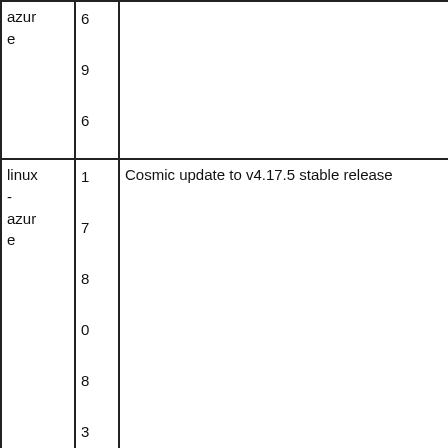| azure
e | 6
9
6 |  |
| linux
-
azure
e | 1
7
8
0
8
3
3 | Cosmic update to v4.17.5 stable release |
| linux
-
azure
e | 1
7
8
0
8
0 | Cosmic update to v4.17.4 stable release |